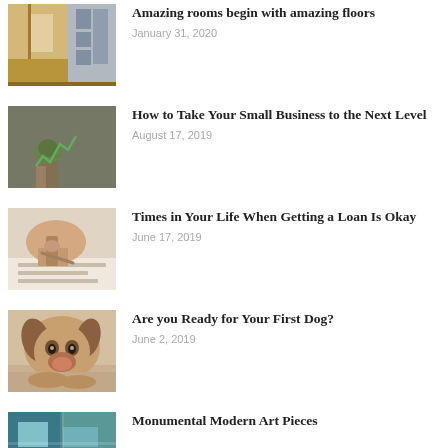[Figure (photo): Interior room with hardwood floors and open doorway letting in light]
Amazing rooms begin with amazing floors
January 31, 2020
[Figure (photo): Small green plant growing in pot with watering can against dark chalkboard background with arrow chart]
How to Take Your Small Business to the Next Level
August 17, 2019
[Figure (photo): Hand holding a pen writing on paper]
Times in Your Life When Getting a Loan Is Okay
June 17, 2019
[Figure (photo): Close-up of a beagle puppy with sad eyes resting chin on surface]
Are you Ready for Your First Dog?
June 2, 2019
[Figure (photo): Colorful modern art pieces with blue and teal tones]
Monumental Modern Art Pieces